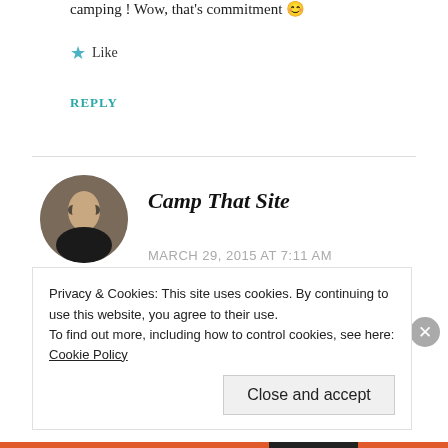camping ! Wow, that's commitment 😊
★ Like
REPLY
[Figure (photo): Circular avatar photo of Camp That Site commenter — woman with sunglasses outdoors]
Camp That Site
MARCH 29, 2015 AT 7:11 AM
We have only ever camped 2 to 3 times each season so it was always a novelty and
Privacy & Cookies: This site uses cookies. By continuing to use this website, you agree to their use.
To find out more, including how to control cookies, see here: Cookie Policy
Close and accept